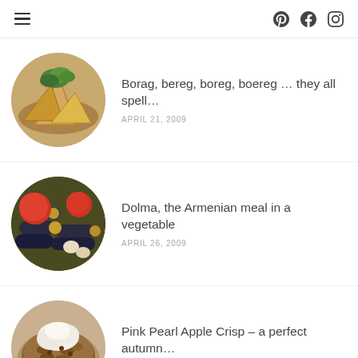≡  Pinterest  Facebook  Instagram
[Figure (photo): Circular thumbnail of phyllo pastry triangles (boreg) with fresh herbs on a wooden board]
Borag, bereg, boreg, boereg … they all spell…
APRIL 21, 2009
[Figure (photo): Circular thumbnail of dolma – stuffed vegetables including tomatoes, eggplant, and zucchini]
Dolma, the Armenian meal in a vegetable
APRIL 26, 2009
[Figure (photo): Circular thumbnail of Pink Pearl Apple Crisp in a bowl topped with whipped cream]
Pink Pearl Apple Crisp – a perfect autumn…
OCTOBER 27, 2019